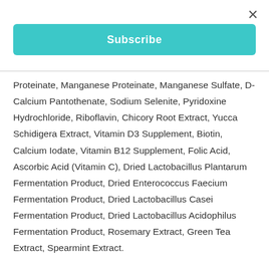×
Subscribe
Proteinate, Manganese Proteinate, Manganese Sulfate, D-Calcium Pantothenate, Sodium Selenite, Pyridoxine Hydrochloride, Riboflavin, Chicory Root Extract, Yucca Schidigera Extract, Vitamin D3 Supplement, Biotin, Calcium Iodate, Vitamin B12 Supplement, Folic Acid, Ascorbic Acid (Vitamin C), Dried Lactobacillus Plantarum Fermentation Product, Dried Enterococcus Faecium Fermentation Product, Dried Lactobacillus Casei Fermentation Product, Dried Lactobacillus Acidophilus Fermentation Product, Rosemary Extract, Green Tea Extract, Spearmint Extract.